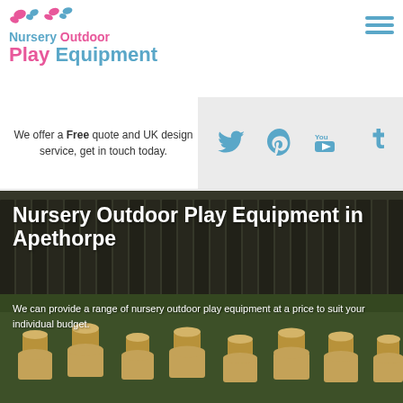[Figure (logo): Nursery Outdoor Play Equipment logo with pink and blue butterfly icons and colorful text]
[Figure (infographic): Hamburger menu icon (three horizontal blue lines) in top-right corner]
We offer a Free quote and UK design service, get in touch today.
[Figure (infographic): Social media icons: Twitter bird, Pinterest P, YouTube logo, Tumblr t — all in steel blue on light grey background]
[Figure (photo): Outdoor nursery play area photo showing wooden stools/seats on grass with wooden fence in background]
Nursery Outdoor Play Equipment in Apethorpe
We can provide a range of nursery outdoor play equipment at a price to suit your individual budget.